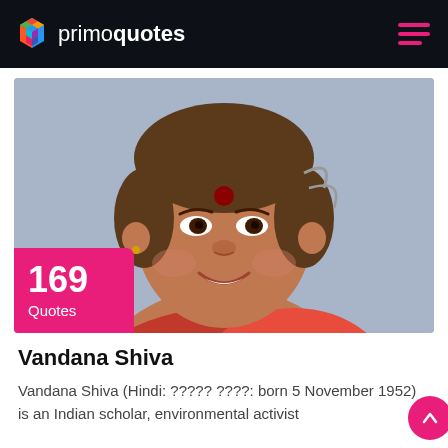primoquotes
[Figure (photo): Portrait photo of Vandana Shiva, a smiling Indian woman wearing red clothing and a red bindi, photographed against a blue-grey background. A badge overlay shows '169 Quotes'.]
Vandana Shiva
Vandana Shiva (Hindi: ????? ????: born 5 November 1952) is an Indian scholar, environmental activist